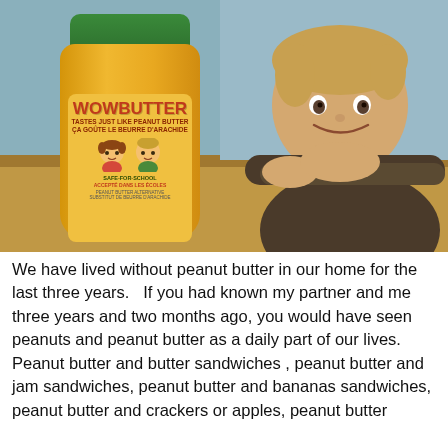[Figure (photo): A young boy smiling and resting his chin on his arms on a kitchen counter, next to a jar of WOWBUTTER (a peanut butter alternative). The jar has a green lid and a yellow label reading 'WOWBUTTER - TASTES JUST LIKE PEANUT BUTTER / ÇA GOÛTE LE BEURRE D'ARACHIDE' with cartoon children faces and text 'SAFE-FOR-SCHOOL / ACCEPTÉ DANS LES ÉCOLES'.]
We have lived without peanut butter in our home for the last three years.   If you had known my partner and me three years and two months ago, you would have seen peanuts and peanut butter as a daily part of our lives.  Peanut butter and butter sandwiches , peanut butter and jam sandwiches, peanut butter and bananas sandwiches, peanut butter and crackers or apples, peanut butter